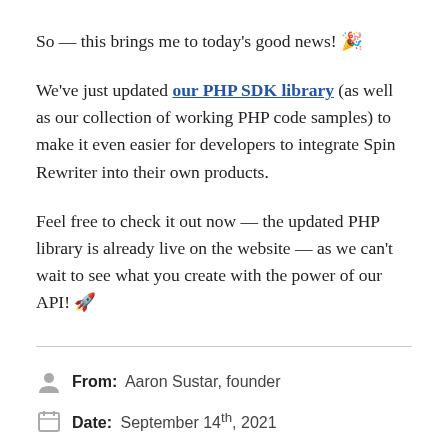So — this brings me to today's good news! 🎉
We've just updated our PHP SDK library (as well as our collection of working PHP code samples) to make it even easier for developers to integrate Spin Rewriter into their own products.
Feel free to check it out now — the updated PHP library is already live on the website — as we can't wait to see what you create with the power of our API! 🚀
From: Aaron Sustar, founder
Date: September 14th, 2021